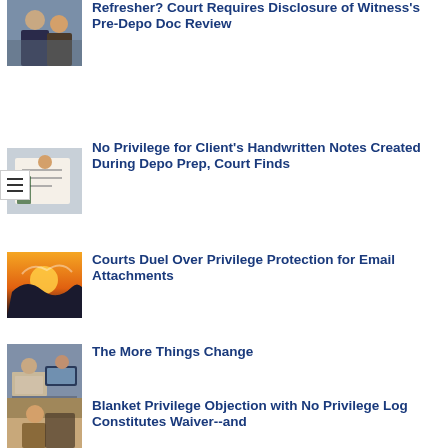[Figure (photo): Two people at a meeting table, one appears to be a professional]
Refresher? Court Requires Disclosure of Witness's Pre-Depo Doc Review
[Figure (photo): Person writing notes with a pen in a notebook]
No Privilege for Client's Handwritten Notes Created During Depo Prep, Court Finds
[Figure (photo): Silhouette against a dramatic sunset sky with clouds]
Courts Duel Over Privilege Protection for Email Attachments
[Figure (photo): People in a meeting with laptops, possibly remote/hybrid setting]
The More Things Change
[Figure (photo): Person in an office setting, appears to be on a phone call]
Blanket Privilege Objection with No Privilege Log Constitutes Waiver--and